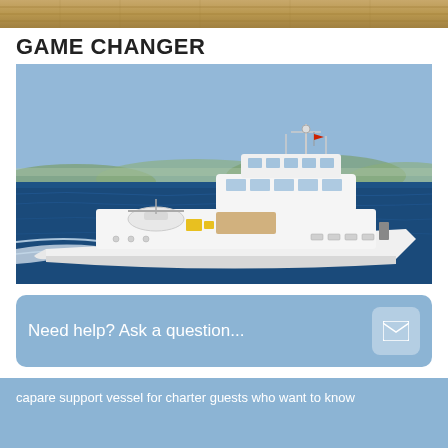[Figure (photo): Partial view of a wooden deck surface at the top of the page]
GAME CHANGER
[Figure (photo): Large white superyacht named Game Changer sailing on blue water with a helicopter on the forward deck and mountains/coastline in the background]
Need help? Ask a question...
capare support vessel for charter guests who want to know